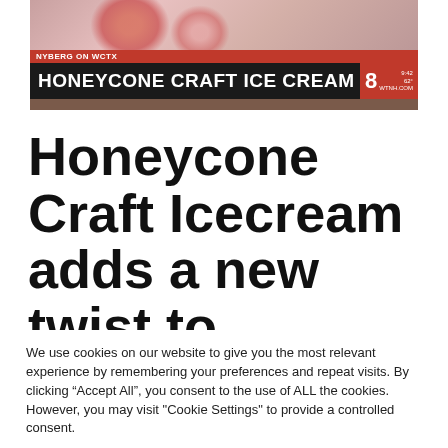[Figure (screenshot): TV news screenshot showing a lower-third graphic with red top bar reading 'NYBERG ON WCTX', a dark band with white bold text 'HONEYCONE CRAFT ICE CREAM', a red WTNH Channel 8 logo, and a floral/pink background image above.]
Honeycone Craft Icecream adds a new twist to
We use cookies on our website to give you the most relevant experience by remembering your preferences and repeat visits. By clicking “Accept All”, you consent to the use of ALL the cookies. However, you may visit "Cookie Settings" to provide a controlled consent.